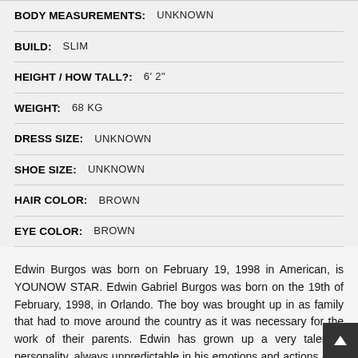| BODY MEASUREMENTS: | UNKNOWN |
| BUILD: | SLIM |
| HEIGHT / HOW TALL?: | 6' 2" |
| WEIGHT: | 68 KG |
| DRESS SIZE: | UNKNOWN |
| SHOE SIZE: | UNKNOWN |
| HAIR COLOR: | BROWN |
| EYE COLOR: | BROWN |
Edwin Burgos was born on February 19, 1998 in American, is YOUNOW STAR. Edwin Gabriel Burgos was born on the 19th of February, 1998, in Orlando. The boy was brought up in as family that had to move around the country as it was necessary for the work of their parents. Edwin has grown up a very talented personality, always unpredictable in his emotions and actions and, naturally, it was the cause of his